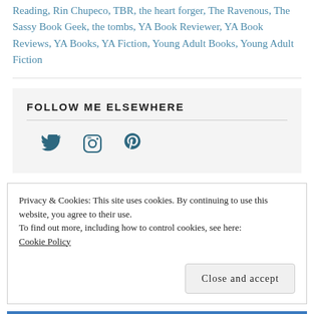Reading, Rin Chupeco, TBR, the heart forger, The Ravenous, The Sassy Book Geek, the tombs, YA Book Reviewer, YA Book Reviews, YA Books, YA Fiction, Young Adult Books, Young Adult Fiction
FOLLOW ME ELSEWHERE
[Figure (infographic): Social media icons: Twitter bird icon, Instagram camera icon, Pinterest P icon, all in dark teal/blue color]
Privacy & Cookies: This site uses cookies. By continuing to use this website, you agree to their use.
To find out more, including how to control cookies, see here: Cookie Policy
Close and accept